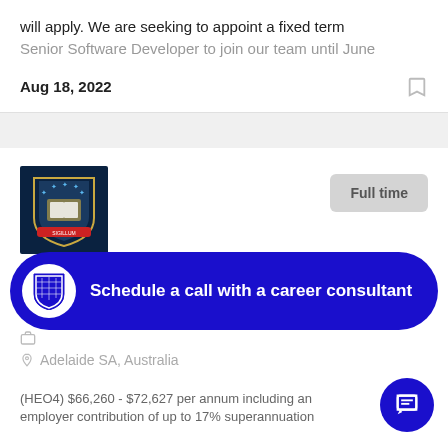will apply. We are seeking to appoint a fixed term Senior Software Developer to join our team until June
Aug 18, 2022
[Figure (logo): University crest/shield logo on dark navy background]
Full time
Ju... so...
Adelaide SA, Australia
(HEO4) $66,260 - $72,627 per annum including an employer contribution of up to 17% superannuation
Schedule a call with a career consultant